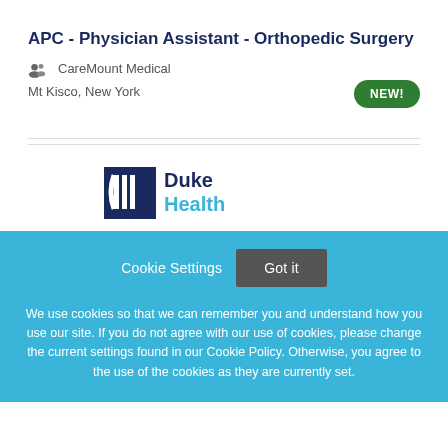APC - Physician Assistant - Orthopedic Surgery
CareMount Medical
Mt Kisco, New York
[Figure (logo): Duke Health logo with dark blue square emblem and DukeHealth wordmark]
Cookie Settings   Got it
We use cookies so that we can remember you and understand how you use our site. If you do not agree with our use of cookies, please change the current settings found in our Cookie Policy. Otherwise, you agree to the use of the cookies as they are currently set.